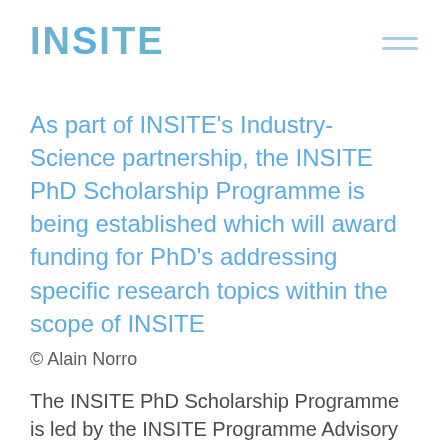INSITE
As part of INSITE’s Industry-Science partnership, the INSITE PhD Scholarship Programme is being established which will award funding for PhD’s addressing specific research topics within the scope of INSITE
© Alain Norro
The INSITE PhD Scholarship Programme is led by the INSITE Programme Advisory Group (PAG). He are responsible for all...